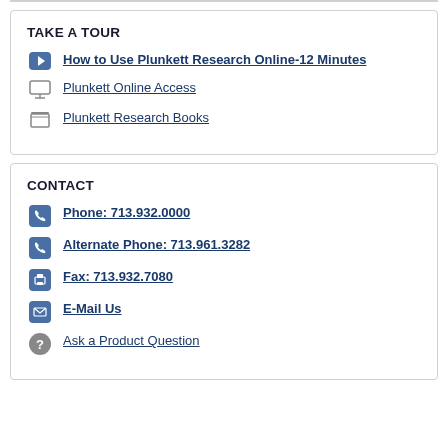TAKE A TOUR
How to Use Plunkett Research Online-12 Minutes
Plunkett Online Access
Plunkett Research Books
CONTACT
Phone: 713.932.0000
Alternate Phone: 713.961.3282
Fax: 713.932.7080
E-Mail Us
Ask a Product Question